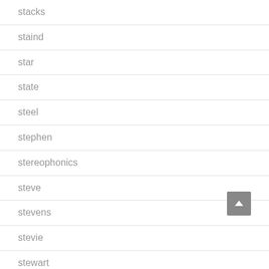stacks
staind
star
state
steel
stephen
stereophonics
steve
stevens
stevie
stewart
stick